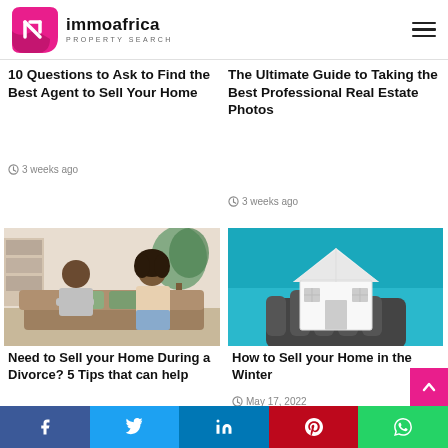immoafrica PROPERTY SEARCH
10 Questions to Ask to Find the Best Agent to Sell Your Home
3 weeks ago
The Ultimate Guide to Taking the Best Professional Real Estate Photos
3 weeks ago
[Figure (photo): Couple sitting on a couch back-to-back, arms crossed, looking upset]
Need to Sell your Home During a Divorce? 5 Tips that can help
June 14, 2022
[Figure (photo): Gloved hand holding a small white model house against a teal background]
How to Sell your Home in the Winter
May 17, 2022